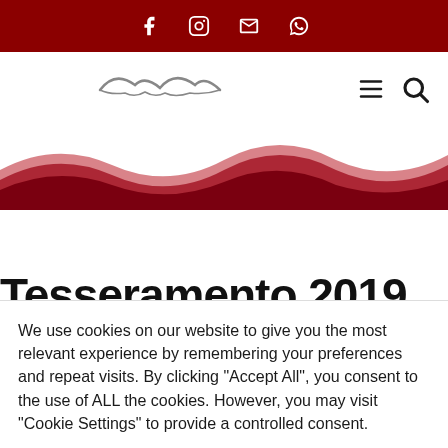Social media icons: Facebook, Instagram, Email, WhatsApp
[Figure (logo): Website logo with stylized bird/seagull outline in grey]
[Figure (illustration): Decorative red wave/hills graphic banner]
Tesseramento 2019
We use cookies on our website to give you the most relevant experience by remembering your preferences and repeat visits. By clicking "Accept All", you consent to the use of ALL the cookies. However, you may visit "Cookie Settings" to provide a controlled consent.
Impostazioni | Accetta tutto